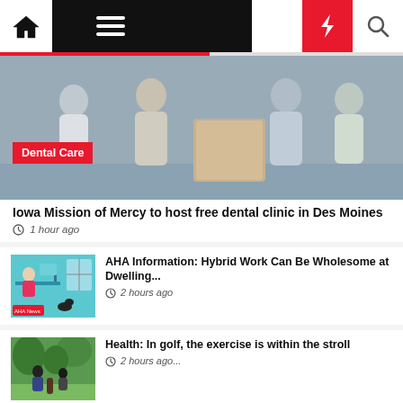Navigation bar with home, menu, moon, bolt, search icons
[Figure (photo): Four men standing in front of a large cardboard box/podium at an event. A red 'Dental Care' tag overlays the image.]
Iowa Mission of Mercy to host free dental clinic in Des Moines
1 hour ago
[Figure (illustration): Illustration of a person working at a desk in an office/home setting, AHA News logo visible]
AHA Information: Hybrid Work Can Be Wholesome at Dwelling...
2 hours ago
[Figure (photo): People on a golf course, walking with golf bags]
Health: In golf, the exercise is within the stroll
2 hours ago